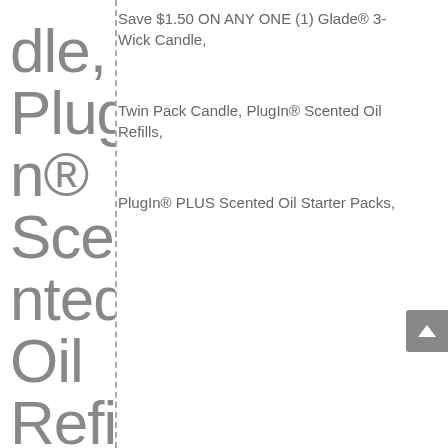dle, PlugIn® Scented Oil Refills, PlugIn® PLUS Sce
Save $1.50 ON ANY ONE (1) Glade® 3-Wick Candle, Twin Pack Candle, PlugIn® Scented Oil Refills, PlugIn® PLUS Scented Oil Starter Packs,